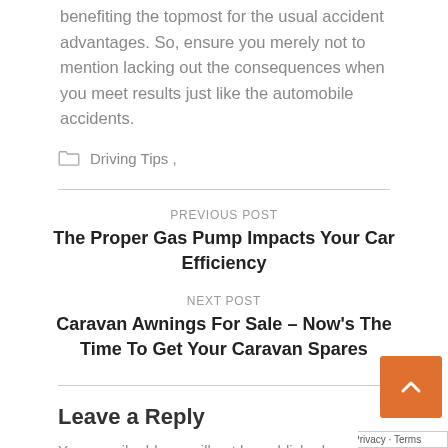benefiting the topmost for the usual accident advantages. So, ensure you merely not to mention lacking out the consequences when you meet results just like the automobile accidents.
Driving Tips ,
PREVIOUS POST
The Proper Gas Pump Impacts Your Car Efficiency
NEXT POST
Caravan Awnings For Sale – Now's The Time To Get Your Caravan Spares
Leave a Reply
Your email address will not be published. Required